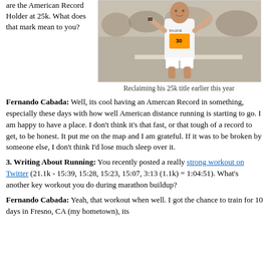are the American Record Holder at 25k. What does that mark mean to you?
[Figure (photo): Runner in white tank top and race bib crossing finish line with arms raised]
Reclaiming his 25k title earlier this year
Fernando Cabada: Well, its cool having an Amercan Record in something, especially these days with how well American distance running is starting to go. I am happy to have a place. I don't think it's that fast, or that tough of a record to get, to be honest. It put me on the map and I am grateful. If it was to be broken by someone else, I don't think I'd lose much sleep over it.
3. Writing About Running: You recently posted a really strong workout on Twitter (21.1k - 15:39, 15:28, 15:23, 15:07, 3:13 (1.1k) = 1:04:51). What's another key workout you do during marathon buildup?
Fernando Cabada: Yeah, that workout when well. I got the chance to train for 10 days in Fresno, CA (my hometown), its